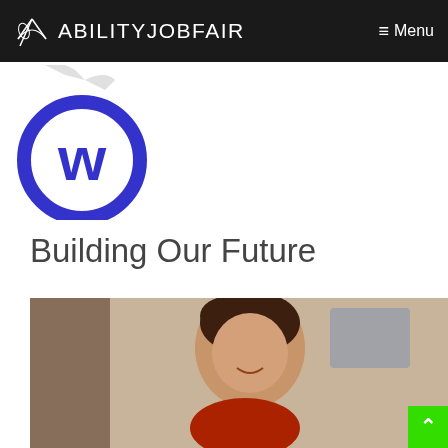ABILITYJOBFAIR  ≡ Menu
[Figure (logo): Workability logo — blue circle with 'w' symbol]
Building Our Future
[Figure (photo): Smiling woman with short dark hair wearing a red top, gesturing with her hand, in an indoor setting]